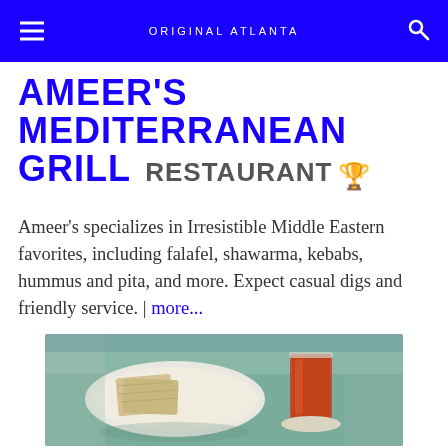ORIGINAL ATLANTA
AMEER'S MEDITERRANEAN GRILL RESTAURANT 🏆
Ameer's specializes in Irresistible Middle Eastern favorites, including falafel, shawarma, kebabs, hummus and pita, and more. Expect casual digs and friendly service. | more...
[Figure (photo): Photo of Middle Eastern food including flatbread/crackers on a plate and a glass of amber-colored tea or drink on a table]